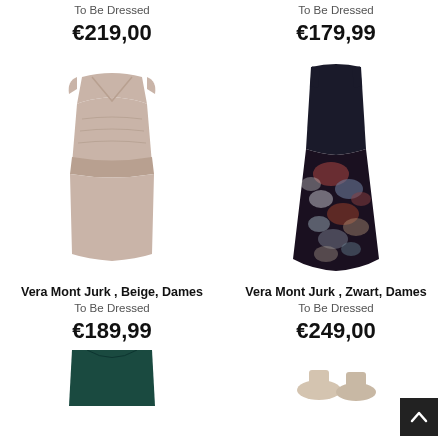To Be Dressed
€219,00
To Be Dressed
€179,99
[Figure (photo): Vera Mont Jurk beige ladies dress, sleeveless V-neck pencil dress]
Vera Mont Jurk , Beige, Dames
To Be Dressed
€189,99
[Figure (photo): Vera Mont Jurk zwart (black) ladies dress with dark top and floral skirt]
Vera Mont Jurk , Zwart, Dames
To Be Dressed
€249,00
[Figure (photo): Dark teal/green ladies top or dress, partially visible at bottom]
[Figure (photo): Beige/nude shoes or clothing item, partially visible at bottom right]